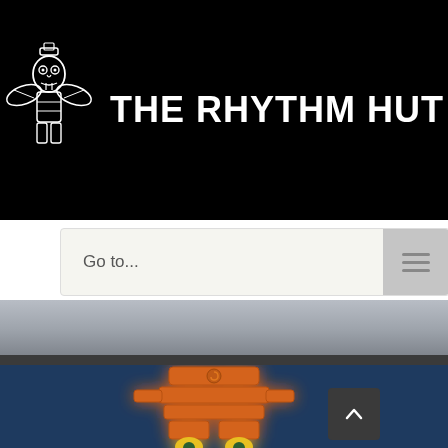[Figure (logo): The Rhythm Hut logo: white Aztec/Maya totem figure with wings on black background, with bold white text 'THE RHYTHM HUT' to its right]
Go to...
[Figure (illustration): Orange totem/idol figure with glowing white aura on dark blue background, partially visible at bottom of page]